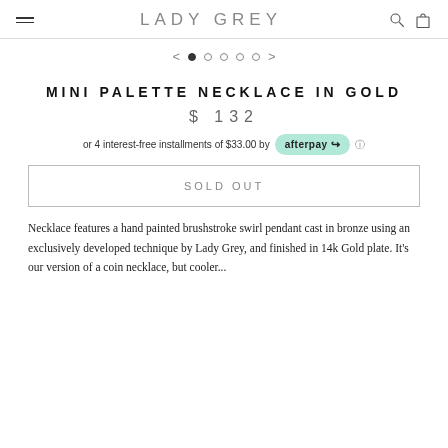LADY GREY
[Figure (other): Carousel navigation dots with left and right arrows, 5 dots with first one filled]
MINI PALETTE NECKLACE IN GOLD
$ 132
or 4 interest-free installments of $33.00 by afterpay
SOLD OUT
Necklace features a hand painted brushstroke swirl pendant cast in bronze using an exclusively developed technique by Lady Grey, and finished in 14k Gold plate. It's our version of a coin necklace, but cooler...